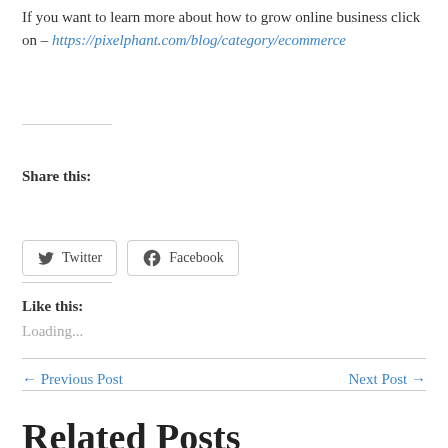If you want to learn more about how to grow online business click on – https://pixelphant.com/blog/category/ecommerce
Share this:
Twitter   Facebook
Like this:
Loading...
← Previous Post    Next Post →
Related Posts